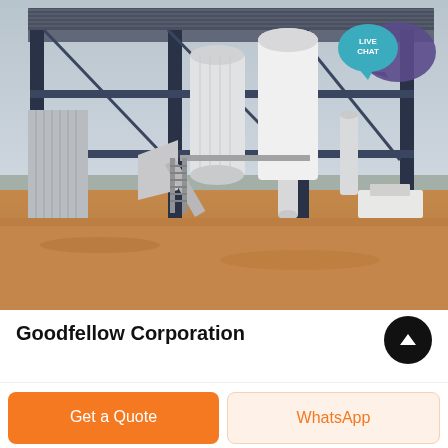[Figure (photo): Industrial facility photo showing a steel-framed structure with a corrugated metal roof and large industrial silos/processing equipment mounted within. The structure is under construction or newly built, set on a red dirt ground typical of Australian outback. White cylindrical processing units, conveyor systems, and metal staircases are visible. A 'LIVE CHAT' button overlay appears in the upper right corner. Trees and overcast sky visible in the background.]
Goodfellow Corporation
Get a Quote
WhatsApp